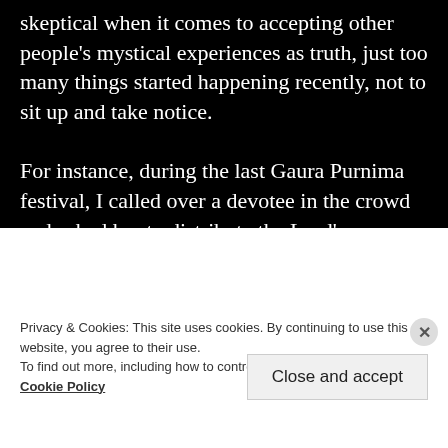skeptical when it comes to accepting other people's mystical experiences as truth, just too many things started happening recently, not to sit up and take notice.

For instance, during the last Gaura Purnima festival, I called over a devotee in the crowd and asked her to distribute the Lord's caranamrta to the ladies, which she did. Later, when she brought the caranamrta pot back, she remarked that Lord Nrsimhadeva was very merciful to reciprocate so quickly.
Privacy & Cookies: This site uses cookies. By continuing to use this website, you agree to their use.
To find out more, including how to control cookies, see here: Cookie Policy
Close and accept